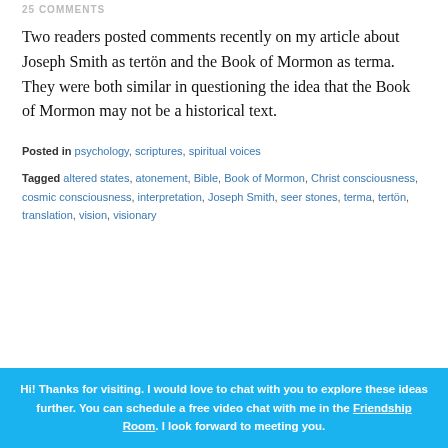25 COMMENTS
Two readers posted comments recently on my article about Joseph Smith as tertön and the Book of Mormon as terma. They were both similar in questioning the idea that the Book of Mormon may not be a historical text.
Posted in psychology, scriptures, spiritual voices
Tagged altered states, atonement, Bible, Book of Mormon, Christ consciousness, cosmic consciousness, interpretation, Joseph Smith, seer stones, terma, tertön, translation, vision, visionary
Hi! Thanks for visiting. I would love to chat with you to explore these ideas further. You can schedule a free video chat with me in the Friendship Room. I look forward to meeting you.